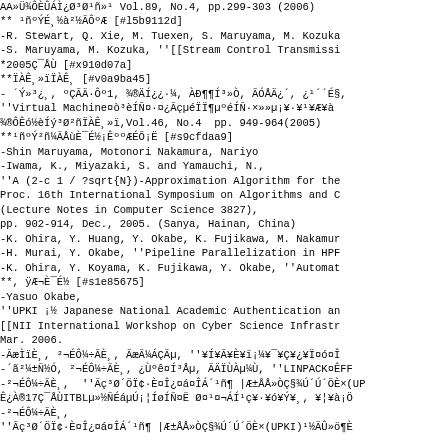AA»Ü¾ÔÈÛÁÌ¿Ø³Ø¹ñ»¹ Vol.89, No.4, pp.299-303 (2006)
** ¹ñºÝÉ¸½à²½ÃÔºÆ [#l5b9112d]
-R. Stewart, Q. Xie, M. Tuexen, S. Maruyama, M. Kozuka
-S. Maruyama, M. Kozuka, ''[[Stream Control Transmissi
*2005Ç¯ÅÙ [#x910d07a]
**ÏÀÊ¸»ïÏÀÊ¸ [#v0a9ba45]
- ´Ý»³¿¸ ºÇÃÄ·Ôº1, ¾®ÄÍ¿¿·¼, ÀÐ¶¶Í³»Ò, ÃÓÅÄ¿´, ¿¹´´É§,
''Virtual Machine¤ò³èÍÑ¤·¤¿ÃçµéÏÏ¶µºéÍÑ·×»»µ¡¥·¥¹¥Æ¥à
¾®ÔÊó½èÍý³Ø²ñÏÀÊ¸»ï,Vol.46, No.4  pp. 949-964(2005)
**¹ñºÝ²ñ¼ÃÅùÈ¯É½¡ÊººÆÉÕ¡Ë [#s9cfdaa9]
-Shin Maruyama, Motonori Nakamura, Nariyo
-Iwama, K., Miyazaki, S. and Yamauchi, N.,
''A (2-c 1 / ?sqrt{N})-Approximation Algorithm for the
Proc. 16th International Symposium on Algorithms and C
(Lecture Notes in Computer Science 3827),
pp. 902-914, Dec., 2005. (Sanya, Hainan, China)
-K. Ohira, Y. Huang, Y. Okabe, K. Fujikawa, M. Nakamur
-H. Murai, Y. Okabe, ''Pipeline Parallelization in HPF
-K. Ohira, Y. Koyama, K. Fujikawa, Y. Okabe, ''Automat
**, ÿÆ¬È¯É½ [#s1e85675]
-Yasuo Okabe,
''UPKI ¡½ Japanese National Academic Authentication an
[[NII International Workshop on Cyber Science Infrastr
Mar. 2006.
-ÃæÌïÈ¸ ²¬ÉÔ¼÷ÃÈ¸ ÃæÃ¼ÁÇÃµ, ''¥Í¥Ã¥È¥ï¡¼¥¯¥Ç¥¿¥Ï¤ó¤Î
-´ã²¼±Ñ½Ó ²¬ÉÔ¼÷ÃÈ¸ ¿Ùºê¤Í³Åµ, ÄÄÏÙÀµ¼Ù, ''LINPACK¤ÊFF
-²¬ÉÔ¼÷ÃÈ¸  ''Ãç³Ø´ÖÏ¢·È¤Î¿¤á¤ÎÁ´¹ñ¶ |Æ±ÅÅ»ÒÇ§¾Ú´Ú´ÖÈ×(UP
Ê¿À®17Ç¯ÅÙITBLµ»½ÑÉáµÚ¡¦ÍøÍÑ¤Ë Ø¤¹¤¬ÁÍ¹ç¥·¥ó¥Ý¥¸, ¥¦¥à¡Ö
-²¬ÉÔ¼÷ÃÈ¸,
''Ãç³Ø´ÖÏ¢·È¤Î¿¤á¤ÎÁ´¹ñ¶ |Æ±ÅÅ»ÒÇ§¾Ú´Ú´ÖÈ×(UPKI)¹½ÃÛ»ö¶È